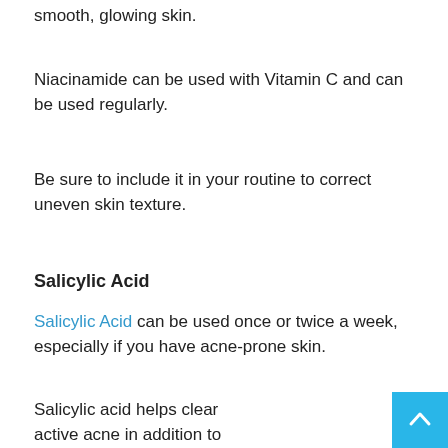smooth, glowing skin.
Niacinamide can be used with Vitamin C and can be used regularly.
Be sure to include it in your routine to correct uneven skin texture.
Salicylic Acid
Salicylic Acid can be used once or twice a week, especially if you have acne-prone skin.
Salicylic acid helps clear active acne in addition to fading the marks due to acne scarring.
It helps unclog the pores. Moreover, it clears blackheads and whiteheads.